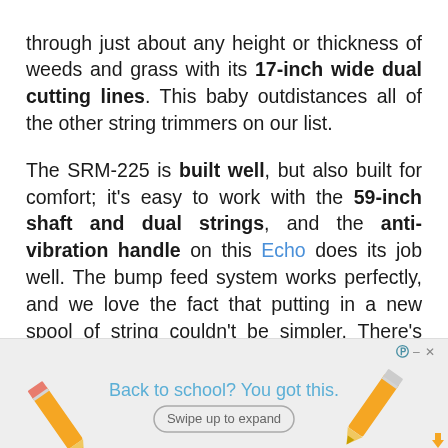through just about any height or thickness of weeds and grass with its 17-inch wide dual cutting lines. This baby outdistances all of the other string trimmers on our list.
The SRM-225 is built well, but also built for comfort; it's easy to work with the 59-inch shaft and dual strings, and the anti-vibration handle on this Echo does its job well. The bump feed system works perfectly, and we love the fact that putting in a new spool of string couldn't be simpler. There's also a strong five-year warranty.
[Figure (other): Advertisement banner at bottom of page. Shows two pencils on left and right sides, with text 'Back to school? You got this.' in blue, a 'Swipe up to expand' button, close controls at top right, and an orange arrow icon at bottom right.]